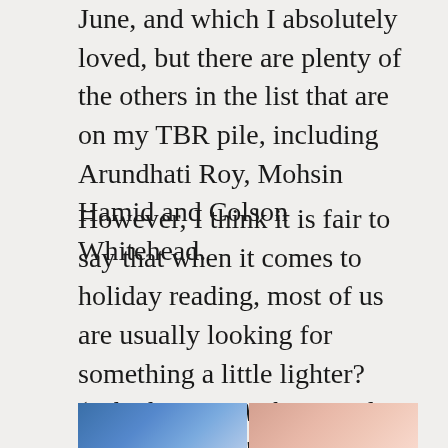June, and which I absolutely loved, but there are plenty of the others in the list that are on my TBR pile, including Arundhati Roy, Mohsin Hamid and Colson Whitehead.
However, I think it is fair to say that when it comes to holiday reading, most of us are usually looking for something a little lighter? (Which Days Without End certainly is not!) Something you can read and enjoy on the beach with one eye on the kids? Something you wouldn't mind leaving on your holiday rental's bookshelf? If these are your criteria, I would suggest the following from my most recent reads (the title links through to the reviews).
[Figure (photo): Partial view of two book cover images at the bottom of the page]